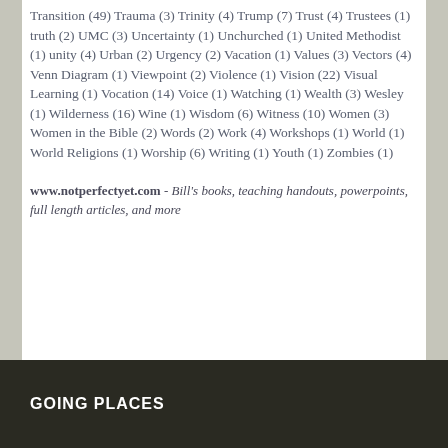Transition (49) Trauma (3) Trinity (4) Trump (7) Trust (4) Trustees (1) truth (2) UMC (3) Uncertainty (1) Unchurched (1) United Methodist (1) unity (4) Urban (2) Urgency (2) Vacation (1) Values (3) Vectors (4) Venn Diagram (1) Viewpoint (2) Violence (1) Vision (22) Visual Learning (1) Vocation (14) Voice (1) Watching (1) Wealth (3) Wesley (1) Wilderness (16) Wine (1) Wisdom (6) Witness (10) Women (3) Women in the Bible (2) Words (2) Work (4) Workshops (1) World (1) World Religions (1) Worship (6) Writing (1) Youth (1) Zombies (1)
www.notperfectyet.com - Bill's books, teaching handouts, powerpoints, full length articles, and more
GOING PLACES